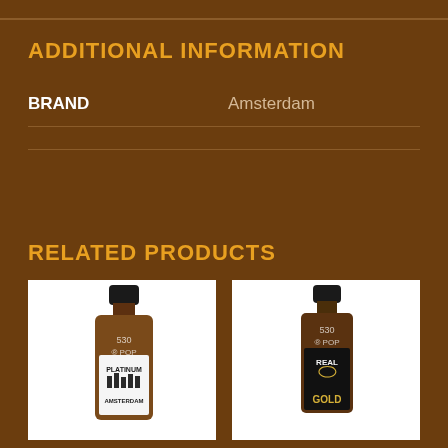ADDITIONAL INFORMATION
| BRAND |  |
| --- | --- |
| BRAND | Amsterdam |
RELATED PRODUCTS
[Figure (photo): Brown amber bottle with black cap labeled 'PLATINUM AMSTERDAM' with watermark '530 POP']
[Figure (photo): Brown amber bottle with black cap labeled 'REAL GOLD' with eagle emblem and watermark '530 POP']